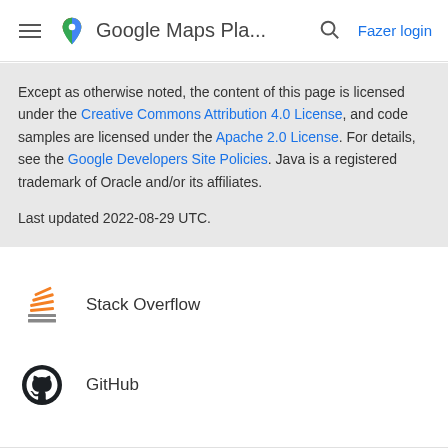Google Maps Pla... Fazer login
Except as otherwise noted, the content of this page is licensed under the Creative Commons Attribution 4.0 License, and code samples are licensed under the Apache 2.0 License. For details, see the Google Developers Site Policies. Java is a registered trademark of Oracle and/or its affiliates.

Last updated 2022-08-29 UTC.
Stack Overflow
GitHub
Discord
Issue Tracker